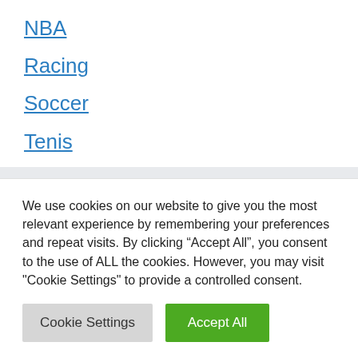NBA
Racing
Soccer
Tenis
Recent Posts
We use cookies on our website to give you the most relevant experience by remembering your preferences and repeat visits. By clicking “Accept All”, you consent to the use of ALL the cookies. However, you may visit "Cookie Settings" to provide a controlled consent.
Cookie Settings | Accept All